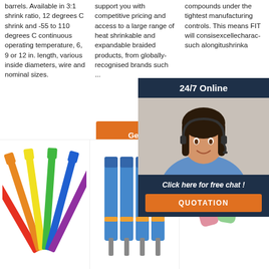barrels. Available in 3:1 shrink ratio, 12 degrees C shrink and -55 to 110 degrees C continuous operating temperature, 6, 9 or 12 in. length, various inside diameters, wire and nominal sizes.
support you with competitive pricing and access to a large range of heat shrinkable and expandable braided products, from globally-recognised brands such ...
compounds under the tightest manufacturing controls. This means FIT will consis... excelle... charac... such a... longitu... shrinka...
[Figure (screenshot): 24/7 Online chat overlay with woman wearing headset, and QUOTATION button]
Get Price
Get Price
Get
Click here for free chat !
QUOTATION
[Figure (photo): Colorful cable ties fanned out]
[Figure (photo): Blue insulated pin terminals]
[Figure (photo): Colorful heat shrink connectors with HP logo and TOP logo]